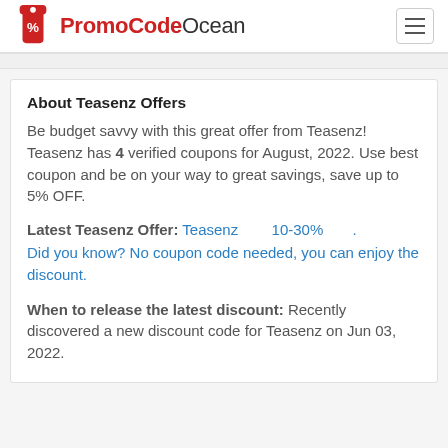PromoCodeOcean
About Teasenz Offers
Be budget savvy with this great offer from Teasenz! Teasenz has 4 verified coupons for August, 2022. Use best coupon and be on your way to great savings, save up to 5% OFF.
Latest Teasenz Offer: Teasenz 10-30% . Did you know? No coupon code needed, you can enjoy the discount.
When to release the latest discount: Recently discovered a new discount code for Teasenz on Jun 03, 2022.